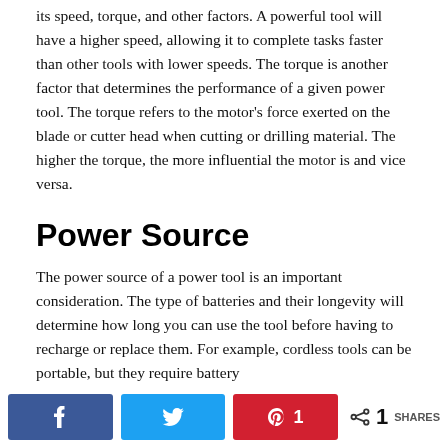its speed, torque, and other factors. A powerful tool will have a higher speed, allowing it to complete tasks faster than other tools with lower speeds. The torque is another factor that determines the performance of a given power tool. The torque refers to the motor's force exerted on the blade or cutter head when cutting or drilling material. The higher the torque, the more influential the motor is and vice versa.
Power Source
The power source of a power tool is an important consideration. The type of batteries and their longevity will determine how long you can use the tool before having to recharge or replace them. For example, cordless tools can be portable, but they require battery